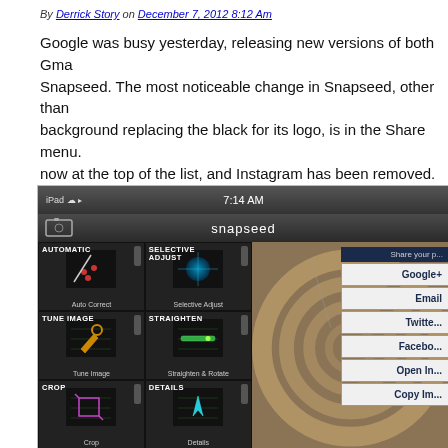By Derrick Story on December 7, 2012 8:12 Am
Google was busy yesterday, releasing new versions of both Gma... Snapseed. The most noticeable change in Snapseed, other than... background replacing the black for its logo, is in the Share menu. now at the top of the list, and Instagram has been removed. (You... Instagram using the Open In command.)
[Figure (screenshot): Screenshot of Snapseed iPad app showing filter grid (Auto Correct, Selective Adjust, Tune Image, Straighten & Rotate, Crop, Details) and a Share menu overlay on the right with options: Google+, Email, Twitter, Facebook, Open In, Copy Image]